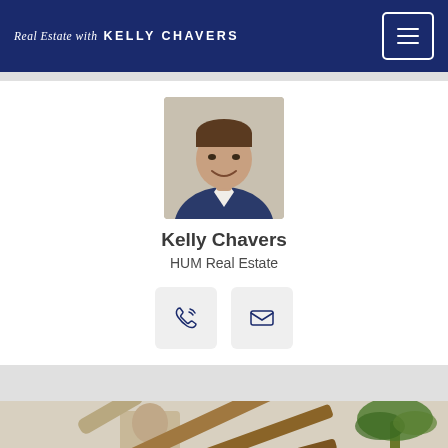Real Estate with KELLY CHAVERS
[Figure (photo): Headshot of Kelly Chavers, a man in a blue blazer smiling]
Kelly Chavers
HUM Real Estate
[Figure (infographic): Contact buttons: phone icon and envelope/email icon]
[Figure (photo): Construction worker lifting wooden beams with a palm tree in background]